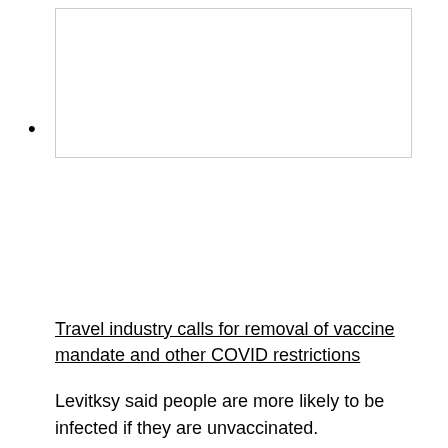[Figure (photo): Image placeholder (blank white rectangle with border)]
Travel industry calls for removal of vaccine mandate and other COVID restrictions
Levitksy said people are more likely to be infected if they are unvaccinated.
[Figure (screenshot): Click to play video: 'COVID-19 vaccine mandates to be suspended for travel, chief government whip says']